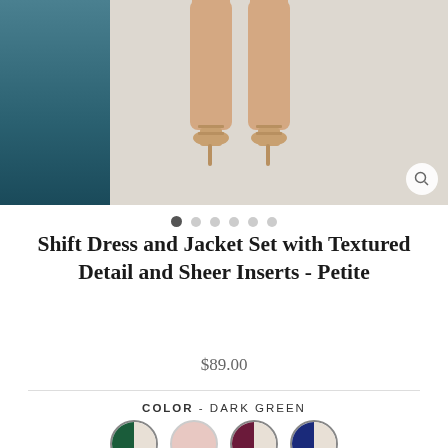[Figure (photo): Product photo showing lower body of model wearing dress and sandal heels, with teal/dark green jacket visible on the left side. Carousel with 6 dot indicators below.]
Shift Dress and Jacket Set with Textured Detail and Sheer Inserts - Petite
$89.00
COLOR - DARK GREEN